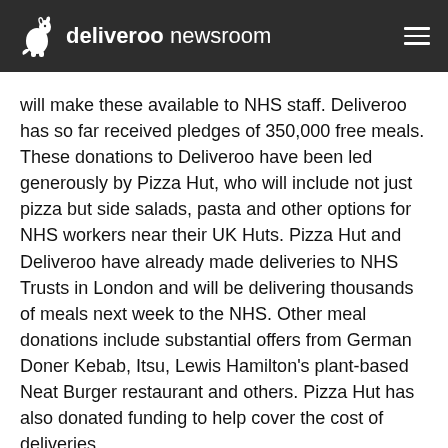deliveroo newsroom
will make these available to NHS staff. Deliveroo has so far received pledges of 350,000 free meals. These donations to Deliveroo have been led generously by Pizza Hut, who will include not just pizza but side salads, pasta and other options for NHS workers near their UK Huts. Pizza Hut and Deliveroo have already made deliveries to NHS Trusts in London and will be delivering thousands of meals next week to the NHS. Other meal donations include substantial offers from German Doner Kebab, Itsu, Lewis Hamilton's plant-based Neat Burger restaurant and others. Pizza Hut has also donated funding to help cover the cost of deliveries.
Deliveroo stands ready and hopes to deliver to NHS sites where there is a need for food, whether hospitals, primary care sites or field hospitals, for example sites such as the new Nightingale Hospital at the ExCel centre. Meals will